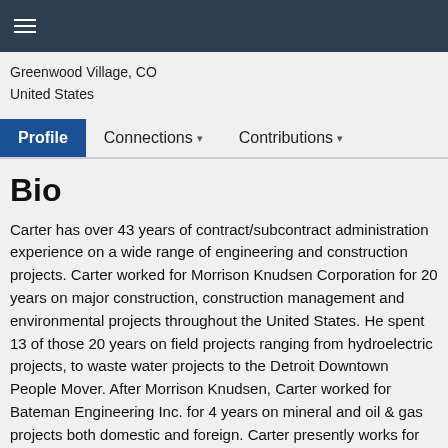☰
Greenwood Village, CO
United States
Profile   Connections ▾   Contributions ▾
Bio
Carter has over 43 years of contract/subcontract administration experience on a wide range of engineering and construction projects. Carter worked for Morrison Knudsen Corporation for 20 years on major construction, construction management and environmental projects throughout the United States. He spent 13 of those 20 years on field projects ranging from hydroelectric projects, to waste water projects to the Detroit Downtown People Mover. After Morrison Knudsen, Carter worked for Bateman Engineering Inc. for 4 years on mineral and oil & gas projects both domestic and foreign. Carter presently works for Merrick & Company as their Vice President of Contracts and Risk Management and oversees their client contracts